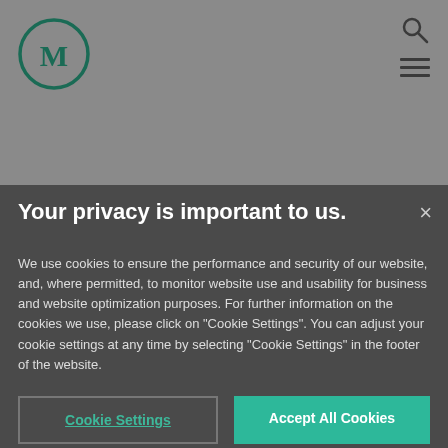[Figure (logo): Circular logo with letter M in dark green]
SUBSCRIBE →
Your privacy is important to us.
We use cookies to ensure the performance and security of our website, and, where permitted, to monitor website use and usability for business and website optimization purposes. For further information on the cookies we use, please click on "Cookie Settings". You can adjust your cookie settings at any time by selecting "Cookie Settings" in the footer of the website.
Cookie Settings
Accept All Cookies